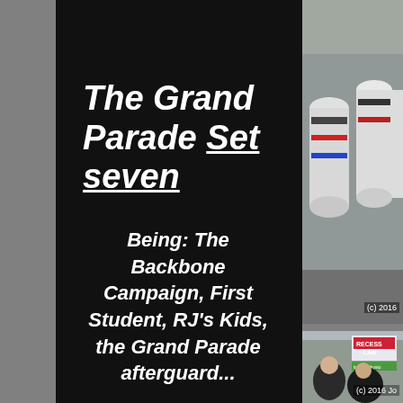The Grand Parade Set seven
Being: The Backbone Campaign, First Student, RJ's Kids, the Grand Parade afterguard...
[Figure (photo): Partial photo showing painted cylindrical objects, cropped on the right side of the page, top portion. Copyright (c) 2016.]
[Figure (photo): Partial photo showing street scene with Recess Lab sign, Insight Physio sign, and people in foreground. Copyright (c) 2016 Jo.]